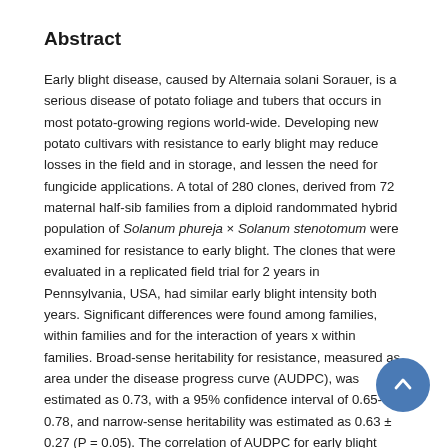Abstract
Early blight disease, caused by Alternaia solani Sorauer, is a serious disease of potato foliage and tubers that occurs in most potato-growing regions world-wide. Developing new potato cultivars with resistance to early blight may reduce losses in the field and in storage, and lessen the need for fungicide applications. A total of 280 clones, derived from 72 maternal half-sib families from a diploid randommated hybrid population of Solanum phureja × Solanum stenotomum were examined for resistance to early blight. The clones that were evaluated in a replicated field trial for 2 years in Pennsylvania, USA, had similar early blight intensity both years. Significant differences were found among families, within families and for the interaction of years x within families. Broad-sense heritability for resistance, measured as area under the disease progress curve (AUDPC), was estimated as 0.73, with a 95% confidence interval of 0.65-0.78, and narrow-sense heritability was estimated as 0.63 ± 0.27 (P = 0.05). The correlation of AUDPC for early blight between years was 0.57 (P < 0.0001). These results suggest that this diploid population is worthy of use in breeding for early blight